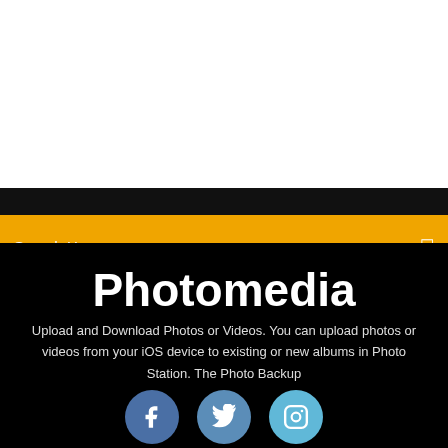[Figure (screenshot): White top section of a webpage]
Search Here
Photomedia
Upload and Download Photos or Videos. You can upload photos or videos from your iOS device to existing or new albums in Photo Station. The Photo Backup
[Figure (illustration): Social media icons: Facebook (blue circle with f), Twitter (medium blue circle with bird), Instagram (light blue circle with camera icon)]